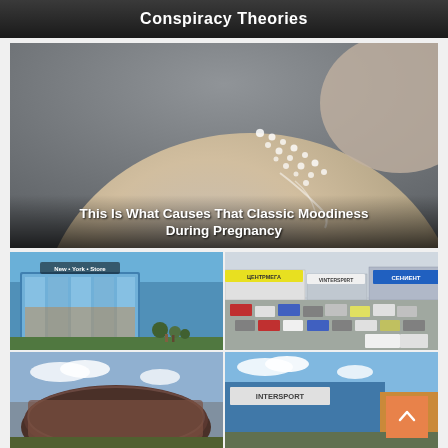Conspiracy Theories
[Figure (photo): Close-up photo of a sweaty/wet shoulder area showing small water droplets or sweat beads on skin, dark background]
This Is What Causes That Classic Moodiness During Pregnancy
[Figure (photo): Grid of four photos showing various shopping mall and retail center exteriors. Top-left: modern blue glass shopping mall with 'New York Store' sign. Top-right: outdoor retail strip with Intersport and other store signs and parking lot. Bottom-left: dark circular/oval arena or building structure. Bottom-right: Intersport and other retail store exterior.]